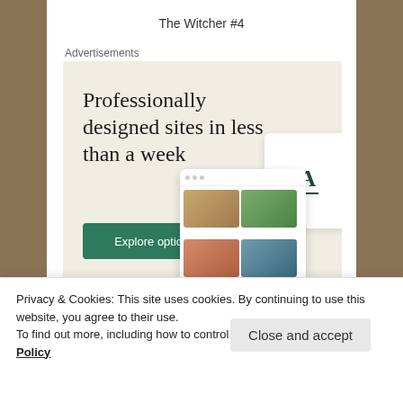The Witcher #4
Advertisements
[Figure (screenshot): WordPress advertisement: 'Professionally designed sites in less than a week' with a green 'Explore options' button, WordPress logo, and a mockup of a website design tool showing food photography grid.]
Privacy & Cookies: This site uses cookies. By continuing to use this website, you agree to their use.
To find out more, including how to control cookies, see here: Cookie Policy
Close and accept